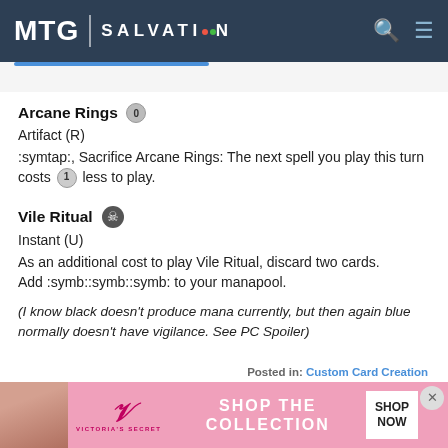MTG SALVATION
Arcane Rings {0}
Artifact (R)
:symtap:, Sacrifice Arcane Rings: The next spell you play this turn costs {1} less to play.
Vile Ritual [skull]
Instant (U)
As an additional cost to play Vile Ritual, discard two cards.
Add :symb::symb::symb: to your manapool.
(I know black doesn't produce mana currently, but then again blue normally doesn't have vigilance. See PC Spoiler)
Posted in: Custom Card Creation
[Figure (photo): Victoria's Secret advertisement banner at bottom of page]